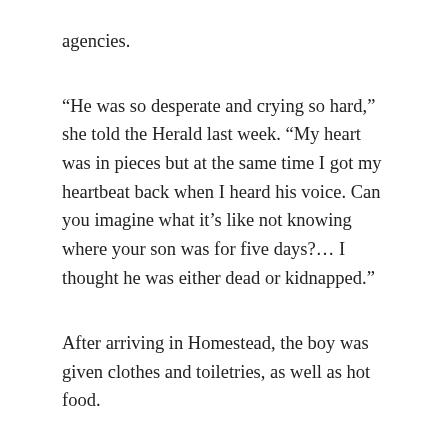agencies.
“He was so desperate and crying so hard,” she told the Herald last week. “My heart was in pieces but at the same time I got my heartbeat back when I heard his voice. Can you imagine what it’s like not knowing where your son was for five days?… I thought he was either dead or kidnapped.”
After arriving in Homestead, the boy was given clothes and toiletries, as well as hot food.
“I was vaccinated though, eight times. I told them I was already vaccinated but they gave me eight different shots and I felt dizzy for the rest of the day,” he told the Miami Herald. “They told me it was normal.”
The teen, an advanced honor roll student and avid soccer player who just got accepted into a dual